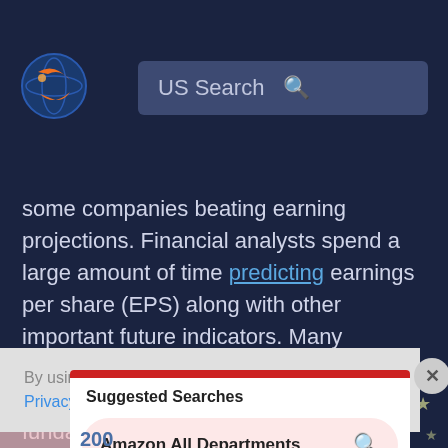[Figure (logo): Macroaxis globe logo with orange and blue colors]
US Search
some companies beating earning projections. Financial analysts spend a large amount of time predicting earnings per share (EPS) along with other important future indicators. Many analysts use forecasting models, management guidance, and additional fundamental information to derive an EPS estimate.
By using Macroaxis, you are agreeing to our revised Privacy Policy
Suggested Searches
Amazon All Departments